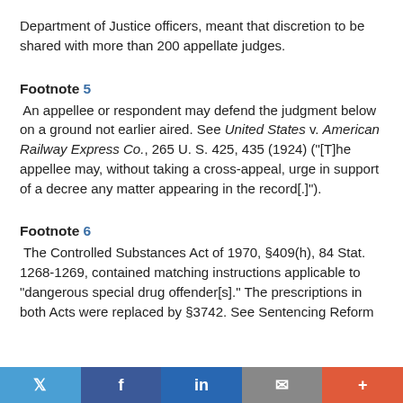Department of Justice officers, meant that discretion to be shared with more than 200 appellate judges.
Footnote 5
An appellee or respondent may defend the judgment below on a ground not earlier aired. See United States v. American Railway Express Co., 265 U. S. 425, 435 (1924) ("[T]he appellee may, without taking a cross-appeal, urge in support of a decree any matter appearing in the record[.]").
Footnote 6
The Controlled Substances Act of 1970, §409(h), 84 Stat. 1268-1269, contained matching instructions applicable to "dangerous special drug offender[s]." The prescriptions in both Acts were replaced by §3742. See Sentencing Reform
Twitter | Facebook | LinkedIn | Email | +